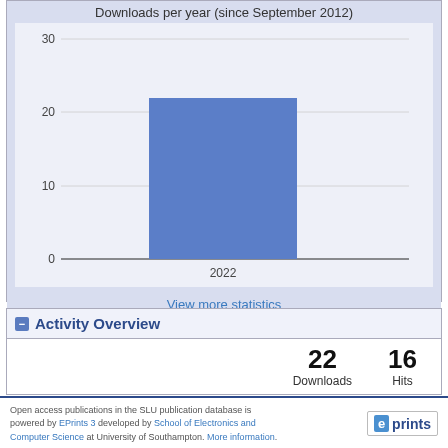Downloads per year (since September 2012)
[Figure (bar-chart): Downloads per year (since September 2012)]
View more statistics
Activity Overview
|  | Downloads | Hits |
| --- | --- | --- |
|  | 22 | 16 |
Open access publications in the SLU publication database is powered by EPrints 3 developed by School of Electronics and Computer Science at University of Southampton. More information.